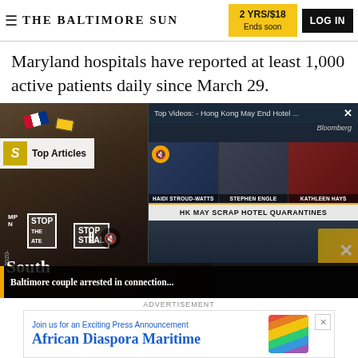THE BALTIMORE SUN | 2 YRS/$18 Ends soon | LOG IN
Maryland hospitals have reported at least 1,000 active patients daily since March 29.
[Figure (screenshot): Screenshot of Baltimore Sun article page with protest image on left showing 'STOP STEAL' signs, and Bloomberg video overlay on right showing anchors Haidi Stroud-Watts, Stephen Engle, Kathleen Hays with 'HK MAY SCRAP HOTEL QUARANTINES' chyron. Also shows 'Top Articles' overlay from Slate. Article preview reads 'South Baltimore couple arrested in connection...']
ADVERTISEMENT
[Figure (screenshot): Advertisement banner: 'Join us for an Exciting Press Announcement' / 'African Diaspora Maritime' with rainbow graphic]